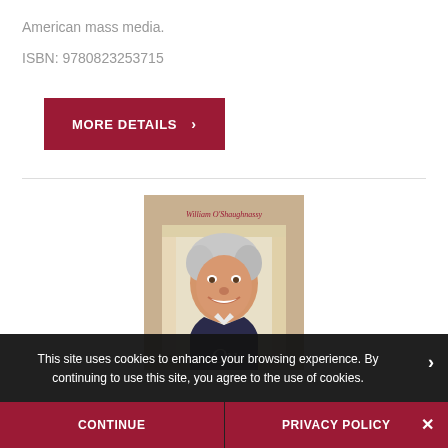American mass media.
ISBN: 9780823253715
MORE DETAILS >
[Figure (photo): Book cover showing William O'Shaughnassy author name in red at top, with a portrait photo of an older man with white hair smiling, wearing a dark jacket, standing in a doorway.]
This site uses cookies to enhance your browsing experience. By continuing to use this site, you agree to the use of cookies.
CONTINUE
PRIVACY POLICY